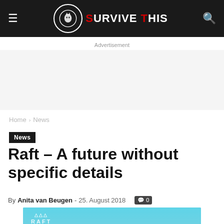SURVIVE THIS
Advertisement
Home › News
News
Raft – A future without specific details
By Anita van Beugen - 25. August 2018  0
[Figure (photo): Raft game promotional image showing islands and a bird on a turquoise ocean background with RAFT logo overlay]